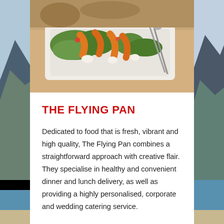[Figure (photo): Close-up photo of a fresh food platter with roasted carrots, greens, and white cheese on a white plate, with serving utensils visible.]
THE FLYING PAN
Dedicated to food that is fresh, vibrant and high quality, The Flying Pan combines a straightforward approach with creative flair. They specialise in healthy and convenient dinner and lunch delivery, as well as providing a highly personalised, corporate and wedding catering service.
For weddings and special occasions, The Flying Pan believes that well-presented and inspired food is integral to the success of the event. "That's why